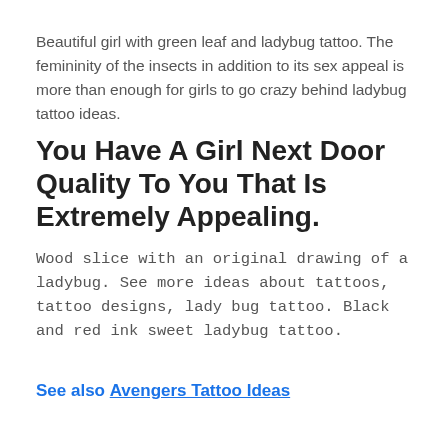Beautiful girl with green leaf and ladybug tattoo. The femininity of the insects in addition to its sex appeal is more than enough for girls to go crazy behind ladybug tattoo ideas.
You Have A Girl Next Door Quality To You That Is Extremely Appealing.
Wood slice with an original drawing of a ladybug. See more ideas about tattoos, tattoo designs, lady bug tattoo. Black and red ink sweet ladybug tattoo.
See also Avengers Tattoo Ideas